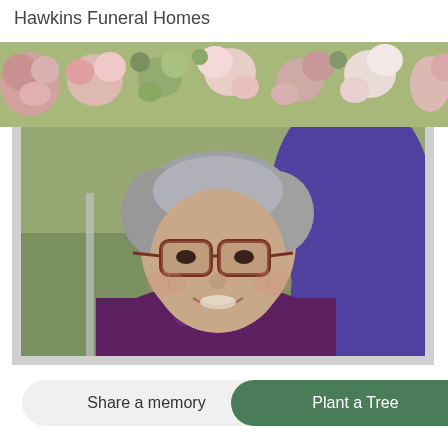Hawkins Funeral Homes
[Figure (photo): Funeral home memorial page with floral banner at top and framed portrait photo of an elderly woman with gray hair and brown glasses, smiling, wearing a purple patterned top, outdoors with green foliage in background.]
Share a memory
Plant a Tree